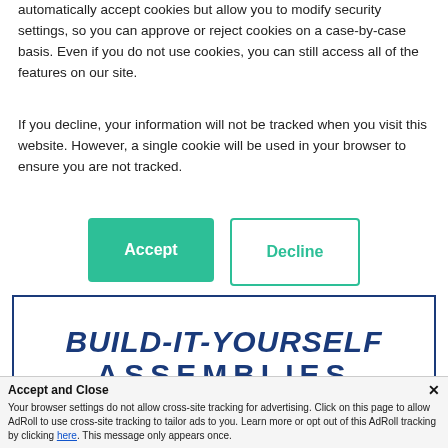automatically accept cookies but allow you to modify security settings, so you can approve or reject cookies on a case-by-case basis. Even if you do not use cookies, you can still access all of the features on our site.
If you decline, your information will not be tracked when you visit this website. However, a single cookie will be used in your browser to ensure you are not tracked.
[Figure (screenshot): Two buttons: a green 'Accept' button and a white 'Decline' button with teal border]
[Figure (logo): BUILD-IT-YOURSELF ASSEMBLIES logo with dark blue text and connector/component icons below]
If you would like to see pricing for our DIY Assemblie...
Accept and Close ✕
Your browser settings do not allow cross-site tracking for advertising. Click on this page to allow AdRoll to use cross-site tracking to tailor ads to you. Learn more or opt out of this AdRoll tracking by clicking here. This message only appears once.